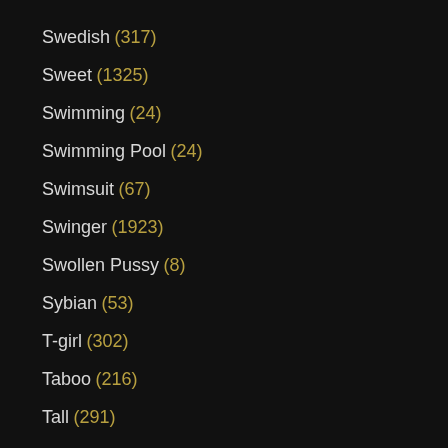Swedish (317)
Sweet (1325)
Swimming (24)
Swimming Pool (24)
Swimsuit (67)
Swinger (1923)
Swollen Pussy (8)
Sybian (53)
T-girl (302)
Taboo (216)
Tall (291)
Tanned (195)
Tasty (75)
Tattoo (2504)
Taxi (210)